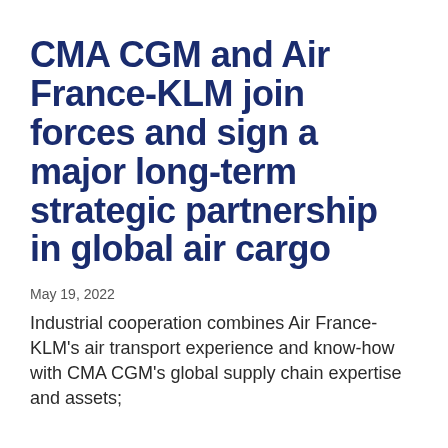CMA CGM and Air France-KLM join forces and sign a major long-term strategic partnership in global air cargo
May 19, 2022
Industrial cooperation combines Air France-KLM's air transport experience and know-how with CMA CGM's global supply chain expertise and assets;